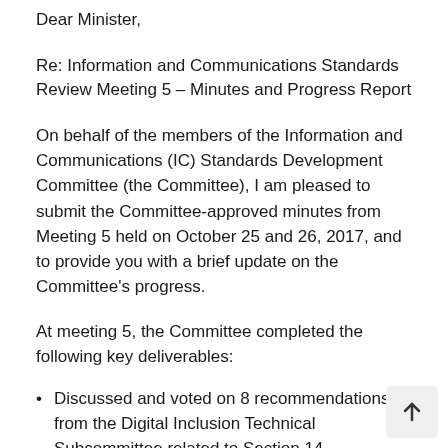Dear Minister,
Re: Information and Communications Standards Review Meeting 5 – Minutes and Progress Report
On behalf of the members of the Information and Communications (IC) Standards Development Committee (the Committee), I am pleased to submit the Committee-approved minutes from Meeting 5 held on October 25 and 26, 2017, and to provide you with a brief update on the Committee's progress.
At meeting 5, the Committee completed the following key deliverables:
Discussed and voted on 8 recommendations from the Digital Inclusion Technical Subcommittee related to Section 14 (accessible websites and content), including recommendations that would